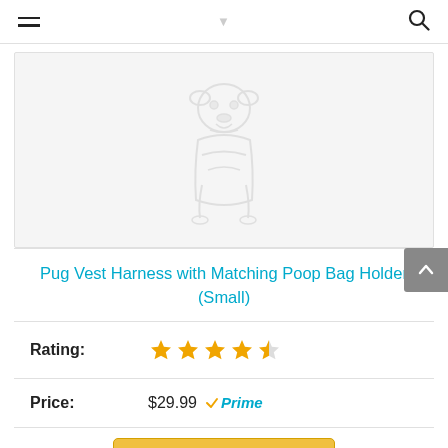Navigation bar with hamburger menu and search icon
[Figure (illustration): Pug dog wearing a vest harness, light gray faded illustration centered on light gray background]
Pug Vest Harness with Matching Poop Bag Holder (Small)
Rating: ★★★★½
Price: $29.99 ✓Prime
[Figure (other): Buy button (gold/yellow color), partially visible at bottom]